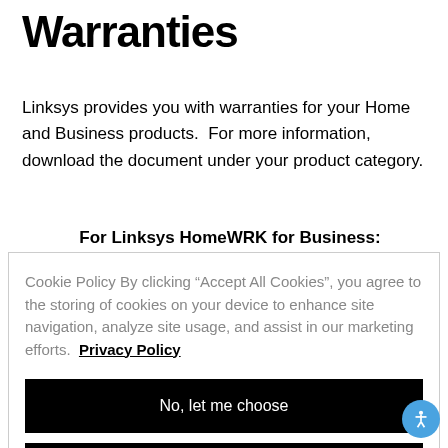Warranties
Linksys provides you with warranties for your Home and Business products.  For more information, download the document under your product category.
For Linksys HomeWRK for Business:
Cookie Policy By clicking “Accept All Cookies”, you agree to the storing of cookies on your device to enhance site navigation, analyze site usage, and assist in our marketing efforts. Privacy Policy
No, let me choose
Reject All
Accept All Cookies